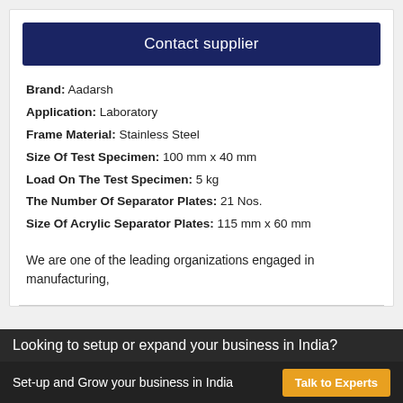Contact supplier
Brand: Aadarsh
Application: Laboratory
Frame Material: Stainless Steel
Size Of Test Specimen: 100 mm x 40 mm
Load On The Test Specimen: 5 kg
The Number Of Separator Plates: 21 Nos.
Size Of Acrylic Separator Plates: 115 mm x 60 mm
We are one of the leading organizations engaged in manufacturing,
Set-up and Grow your business in India  Talk to Experts